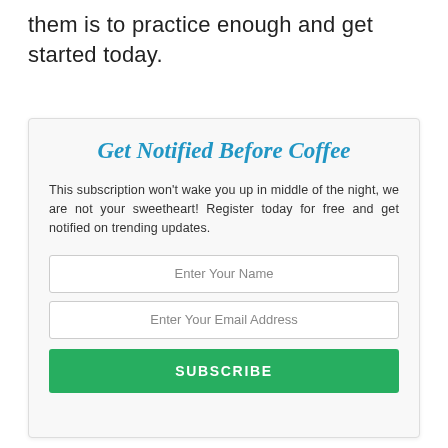them is to practice enough and get started today.
Get Notified Before Coffee
This subscription won't wake you up in middle of the night, we are not your sweetheart! Register today for free and get notified on trending updates.
Enter Your Name
Enter Your Email Address
SUBSCRIBE